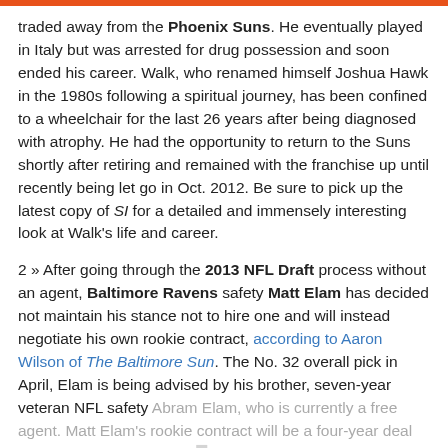traded away from the Phoenix Suns. He eventually played in Italy but was arrested for drug possession and soon ended his career. Walk, who renamed himself Joshua Hawk in the 1980s following a spiritual journey, has been confined to a wheelchair for the last 26 years after being diagnosed with atrophy. He had the opportunity to return to the Suns shortly after retiring and remained with the franchise up until recently being let go in Oct. 2012. Be sure to pick up the latest copy of SI for a detailed and immensely interesting look at Walk's life and career.
2 » After going through the 2013 NFL Draft process without an agent, Baltimore Ravens safety Matt Elam has decided not maintain his stance not to hire one and will instead negotiate his own rookie contract, according to Aaron Wilson of The Baltimore Sun. The No. 32 overall pick in April, Elam is being advised by his brother, seven-year veteran NFL safety Abram Elam, who is currently a free agent. Matt Elam's rookie contract will be a four-year deal worth $6.8 million with a $[...] million signing bonus, terms that are already worked out.